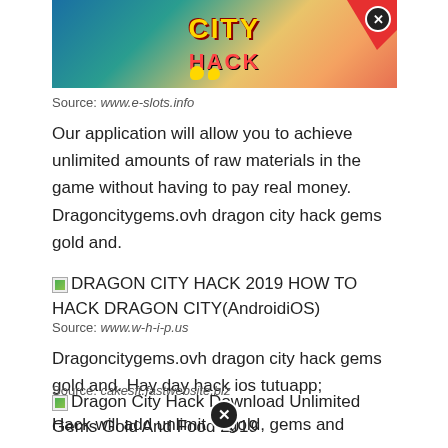[Figure (screenshot): Dragon City Hack game banner with CITY HACK text and colorful game imagery, with a close button (X)]
Source: www.e-slots.info
Our application will allow you to achieve unlimited amounts of raw materials in the game without having to pay real money. Dragoncitygems.ovh dragon city hack gems gold and.
[Figure (screenshot): Image placeholder for DRAGON CITY HACK 2019 HOW TO HACK DRAGON CITY(AndroidiOS)]
Source: www.w-h-i-p.us
Dragoncitygems.ovh dragon city hack gems gold and. Hay day hack ios tutuapp;
[Figure (screenshot): Image placeholder for Dragon City Hack Download Unlimited Gems Gold And Food 2019]
Source: cakesft.fastwebsite.biz
Hack will add unlimited gold, gems and